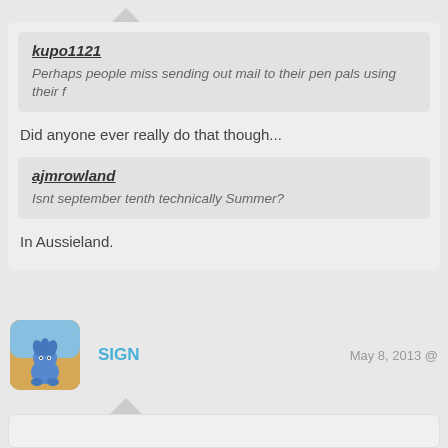kupo1121
Perhaps people miss sending out mail to their pen pals using their f…
Did anyone ever really do that though...
ajmrowland
Isnt september tenth technically Summer?
In Aussieland.
SIGN
May 8, 2013 @